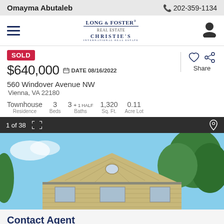Omayma Abutaleb   202-359-1134
[Figure (logo): Long & Foster / Christie's International Real Estate logo]
SOLD
$640,000   DATE 08/16/2022
560 Windover Avenue NW
Vienna, VA 22180
Townhouse Residence   3 Beds   3 + 1 HALF Baths   1,320 Sq. Ft.   0.11 Acre Lot
1 of 38
[Figure (photo): Exterior photo of a townhouse with brick facade, triangular gable roof, and large trees in background under blue sky]
Contact Agent